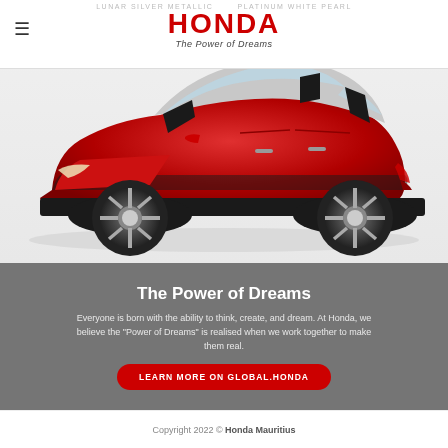LUNAR SILVER METALLIC   PLATINUM WHITE PEARL
HONDA
The Power of Dreams
[Figure (photo): Side profile of a red Honda WR-V / BR-V compact SUV crossover on a white background]
The Power of Dreams
Everyone is born with the ability to think, create, and dream. At Honda, we believe the "Power of Dreams" is realised when we work together to make them real.
LEARN MORE ON GLOBAL.HONDA
Copyright 2022 © Honda Mauritius